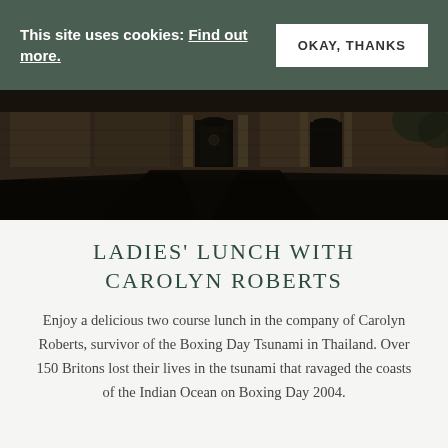This site uses cookies: Find out more. | OKAY, THANKS
[Figure (photo): Sepia-toned photo of a historic stone building facade with dark doorways and a cobblestone or paved foreground, taken at dusk or in dark lighting]
LADIES' LUNCH WITH CAROLYN ROBERTS
Enjoy a delicious two course lunch in the company of Carolyn Roberts, survivor of the Boxing Day Tsunami in Thailand. Over 150 Britons lost their lives in the tsunami that ravaged the coasts of the Indian Ocean on Boxing Day 2004.